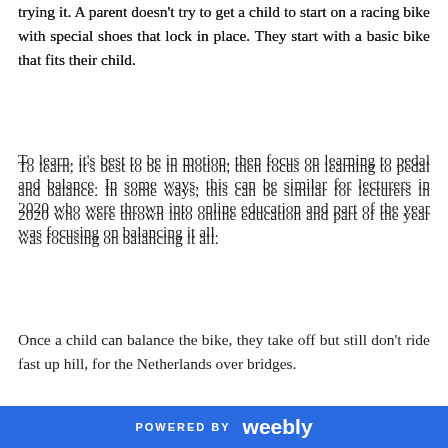trying it. A parent doesn't try to get a child to start on a racing bike with special shoes that lock in place. They start with a basic bike that fits their child.
To learn, it's best to be in motion, then focus on learning to pedal and balance. In some ways, this can be similar for lecturers in 2020 who were thrown into online education and part of the year was focusing on balancing it all.
Once a child can balance the bike, they take off but still don't ride fast up hill, for the Netherlands over bridges.
[Figure (photo): Street-level photo looking up at urban buildings and trees with overhead wires, city scene suggesting Netherlands or European city environment.]
POWERED BY weebly